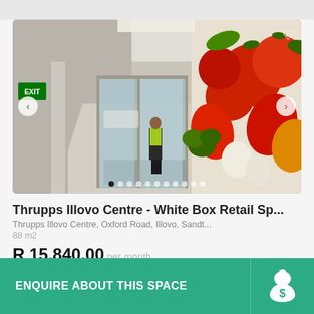[Figure (photo): Interior photo of Thrupps Illovo Centre showing entrance corridor with automatic glass doors, a security guard in yellow vest, and a large wall mural of fresh vegetables (tomatoes, peppers, garlic, broccoli). Navigation arrows on left and right, heart icon top-right, dot indicators at bottom.]
Thrupps Illovo Centre - White Box Retail Sp...
Thrupps Illovo Centre, Oxford Road, Illovo, Sandt...
88 m2
R 15,840.00 per month
ENQUIRE ABOUT THIS SPACE